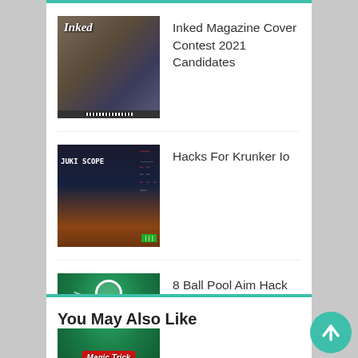Inked Magazine Cover Contest 2021 Candidates
Hacks For Krunker Io
8 Ball Pool Aim Hack Pc
You May Also Like